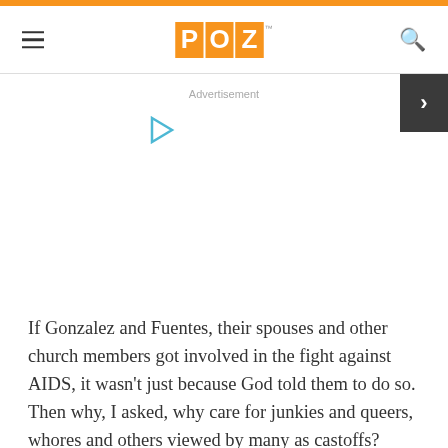POZ
Advertisement
If Gonzalez and Fuentes, their spouses and other church members got involved in the fight against AIDS, it wasn't just because God told them to do so. Then why, I asked, why care for junkies and queers, whores and others viewed by many as castoffs?